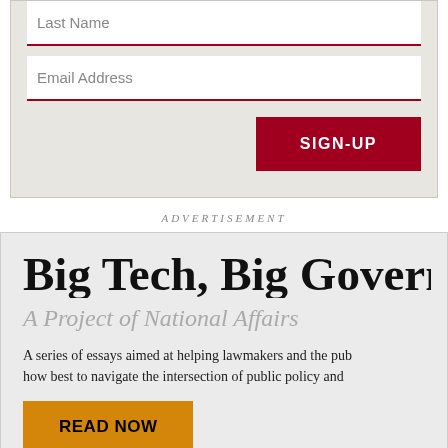Last Name
Email Address
SIGN-UP
ADVERTISEMENT
Big Tech, Big Govern
A Project of National Affairs
A series of essays aimed at helping lawmakers and the pub how best to navigate the intersection of public policy and
READ NOW